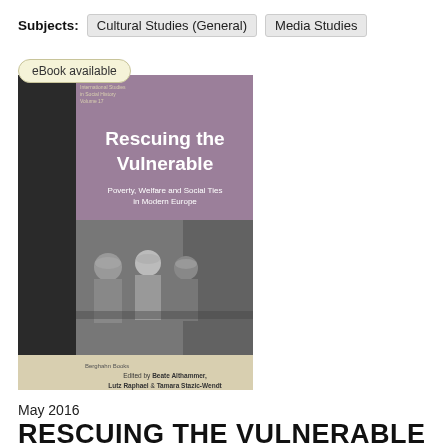Subjects: Cultural Studies (General)  Media Studies
eBook available
[Figure (photo): Book cover of 'Rescuing the Vulnerable: Poverty, Welfare and Social Ties in Modern Europe', edited by Beate Althammer, Lutz Raphael & Tamara Stazic-Wendt. Published by Berghahn Books. Cover shows a black-and-white photograph of children eating from bowls, with a mauve/purple upper section containing the title text.]
May 2016
RESCUING THE VULNERABLE
Poverty, Welfare and Social Ties in Modern